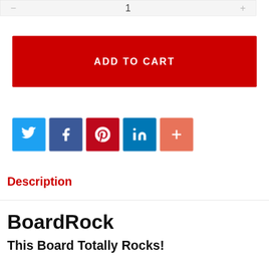[Figure (screenshot): Quantity selector bar with minus button, number 1, and plus button on a light gray background]
[Figure (screenshot): Red ADD TO CART button]
[Figure (infographic): Row of 5 social share icon buttons: Twitter (blue), Facebook (dark blue), Pinterest (red), LinkedIn (teal blue), More/Plus (salmon/orange)]
Description
BoardRock
This Board Totally Rocks!